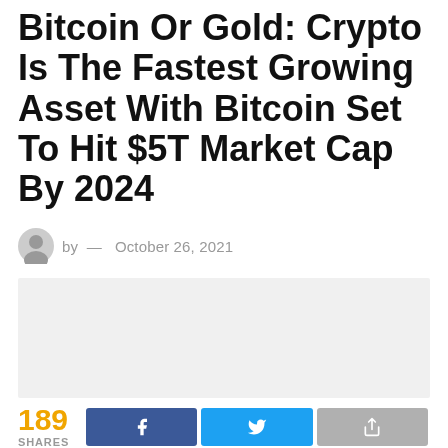Bitcoin Or Gold: Crypto Is The Fastest Growing Asset With Bitcoin Set To Hit $5T Market Cap By 2024
by — October 26, 2021
[Figure (photo): Article featured image placeholder (light gray rectangle)]
189 SHARES